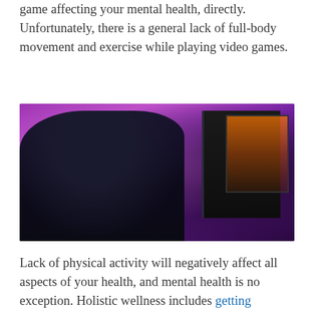game affecting your mental health, directly. Unfortunately, there is a general lack of full-body movement and exercise while playing video games.
[Figure (photo): A person wearing headphones and glasses sitting at a computer desk, holding their head in their hand in a stressed or tired posture. The room is lit with purple/pink ambient lighting. A dark PC tower and monitor are visible on the right.]
Lack of physical activity will negatively affect all aspects of your health, and mental health is no exception. Holistic wellness includes getting